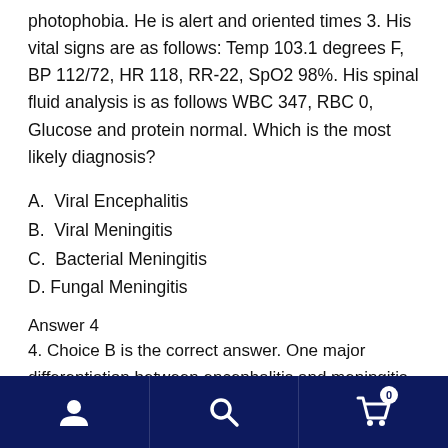photophobia. He is alert and oriented times 3. His vital signs are as follows: Temp 103.1 degrees F, BP 112/72, HR 118, RR-22, SpO2 98%. His spinal fluid analysis is as follows WBC 347, RBC 0, Glucose and protein normal. Which is the most likely diagnosis?
A.  Viral Encephalitis
B.  Viral Meningitis
C.  Bacterial Meningitis
D. Fungal Meningitis
Answer 4
4. Choice B is the correct answer. One major differentiation between encephalitis and meningitis is that patients with encephalitis will have some alteration of consciousness or